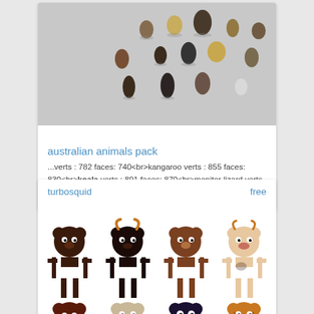[Figure (photo): 3D render of multiple small Australian animal figurines arranged on a gray background, top-down/angled view, various small brown/black creatures]
australian animals pack
...verts : 782 faces: 740<br>kangaroo verts : 855 faces: 830<br>koala verts : 891 faces: 870<br>monitor lizard verts : 932...
turbosquid
free
[Figure (photo): Grid of cartoon 3D animal characters in T-pose: bear, bull/cow with horns, bear, cow (top row); and partial row below showing more animal character faces/heads]